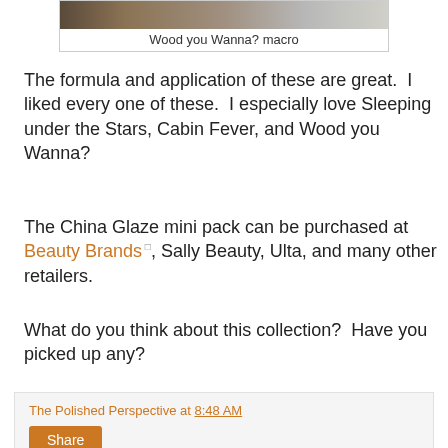[Figure (photo): Partial image of wood texture or nail polish macro shot at top of page]
Wood you Wanna? macro
The formula and application of these are great.  I liked every one of these.  I especially love Sleeping under the Stars, Cabin Fever, and Wood you Wanna?
The China Glaze mini pack can be purchased at Beauty Brands, Sally Beauty, Ulta, and many other retailers.
What do you think about this collection?  Have you picked up any?
The Polished Perspective at 8:48 AM
Share
42 comments: